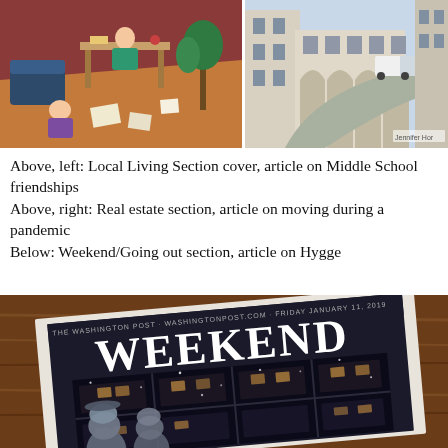[Figure (illustration): Top-left illustration: Local Living Section cover showing children in a room with books and drawings on the floor, colorful illustration style]
[Figure (illustration): Top-right illustration: Real estate section cover showing city buildings with arches, a moving truck on a curved road]
Above, left: Local Living Section cover, article on Middle School friendships
Above, right: Real estate section, article on moving during a pandemic
Below: Weekend/Going out section, article on Hygge
[Figure (photo): Photo of a Washington Post Weekend section newspaper laid on a wooden surface. The cover shows a dark wintry scene with 'WEEKEND' in large white serif letters, and an illustration of figures looking through a window on a snowy night.]